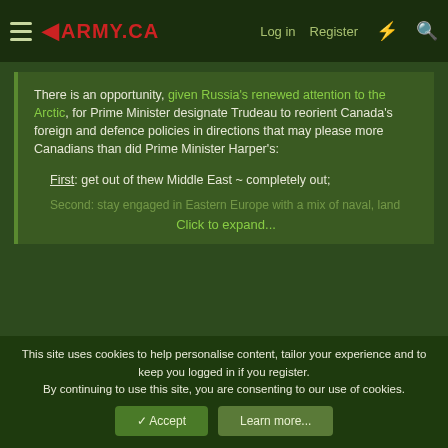ARMY.CA — Log in | Register
There is an opportunity, given Russia's renewed attention to the Arctic, for Prime Minister designate Trudeau to reorient Canada's foreign and defence policies in directions that may please more Canadians than did Prime Minister Harper's:
First: get out of thew Middle East ~ completely out;
Second: stay engaged in Eastern Europe with a mix of naval, land...
Click to expand...
So when do you figure a NATO CF-18/Whatever Squadron will be permanently located in SW Poland? Perhaps with a couple of LRPAs?
We have done the Black Sea from Romania and the Baltic from
This site uses cookies to help personalise content, tailor your experience and to keep you logged in if you register.
By continuing to use this site, you are consenting to our use of cookies.